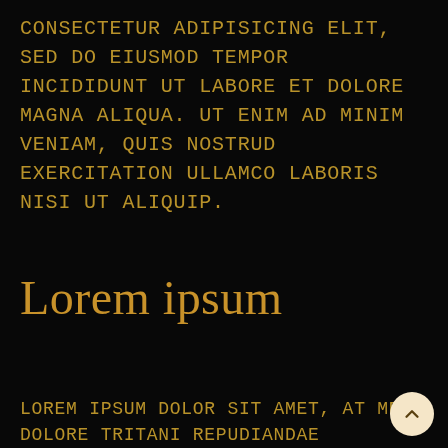consectetur adipisicing elit, sed do eiusmod tempor incididunt ut labore et dolore magna aliqua. Ut enim ad minim veniam, quis nostrud exercitation ullamco laboris nisi ut aliquip.
Lorem ipsum
Lorem ipsum dolor sit amet, at mei dolore tritani repudiandae